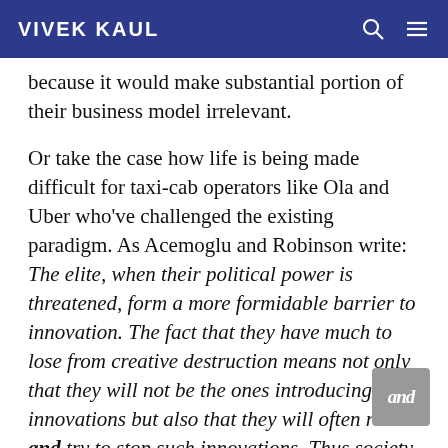VIVEK KAUL
because it would make substantial portion of their business model irrelevant.
Or take the case how life is being made difficult for taxi-cab operators like Ola and Uber who've challenged the existing paradigm. As Acemoglu and Robinson write: The elite, when their political power is threatened, form a more formidable barrier to innovation. The fact that they have much to lose from creative destruction means not only that they will not be the ones introducing new innovations but also that they will often resist and try to stop such innovations. Thus society needs